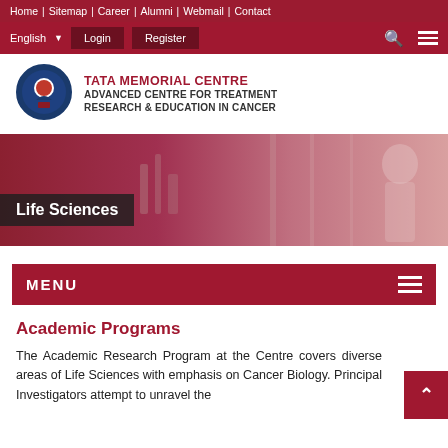Home | Sitemap | Career | Alumni | Webmail | Contact
English  Login  Register
[Figure (logo): Tata Memorial Centre ACTREC logo with circular emblem]
TATA MEMORIAL CENTRE ADVANCED CENTRE FOR TREATMENT RESEARCH & EDUCATION IN CANCER
[Figure (photo): Life Sciences banner showing laboratory with scientist and equipment under red tint]
Life Sciences
MENU
Academic Programs
The Academic Research Program at the Centre covers diverse areas of Life Sciences with emphasis on Cancer Biology. Principal Investigators attempt to unravel the